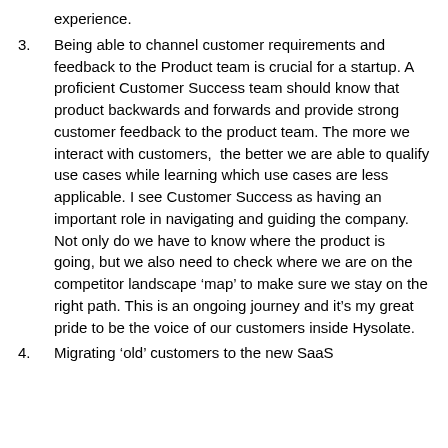experience.
3. Being able to channel customer requirements and feedback to the Product team is crucial for a startup. A proficient Customer Success team should know that product backwards and forwards and provide strong customer feedback to the product team. The more we interact with customers,  the better we are able to qualify use cases while learning which use cases are less applicable. I see Customer Success as having an important role in navigating and guiding the company. Not only do we have to know where the product is going, but we also need to check where we are on the competitor landscape ‘map’ to make sure we stay on the right path. This is an ongoing journey and it’s my great pride to be the voice of our customers inside Hysolate.
4. Migrating ‘old’ customers to the new SaaS